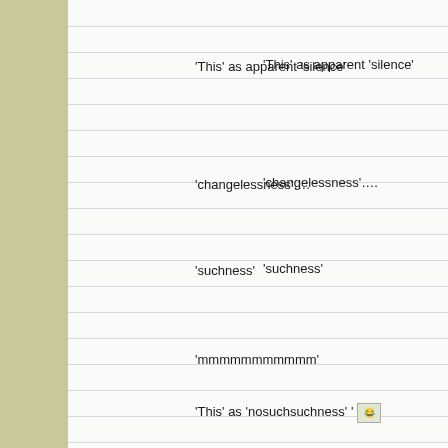'This' as apparent 'silence'
'changelessness'….
'suchness'
'mmmmmmmmmmm'
'This' as 'nosuchsuchness' ' [Laughing]
'all' 'Presence'